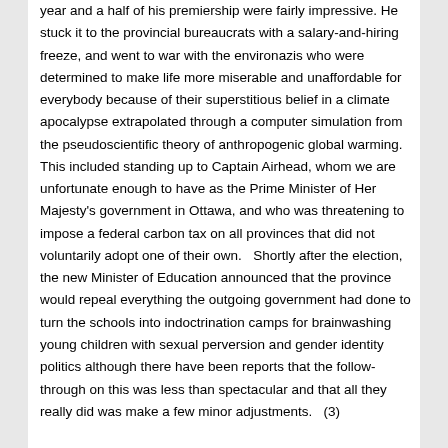year and a half of his premiership were fairly impressive. He stuck it to the provincial bureaucrats with a salary-and-hiring freeze, and went to war with the environazis who were determined to make life more miserable and unaffordable for everybody because of their superstitious belief in a climate apocalypse extrapolated through a computer simulation from the pseudoscientific theory of anthropogenic global warming.   This included standing up to Captain Airhead, whom we are unfortunate enough to have as the Prime Minister of Her Majesty's government in Ottawa, and who was threatening to impose a federal carbon tax on all provinces that did not voluntarily adopt one of their own.   Shortly after the election, the new Minister of Education announced that the province would repeal everything the outgoing government had done to turn the schools into indoctrination camps for brainwashing young children with sexual perversion and gender identity politics although there have been reports that the follow-through on this was less than spectacular and that all they really did was make a few minor adjustments.   (3)